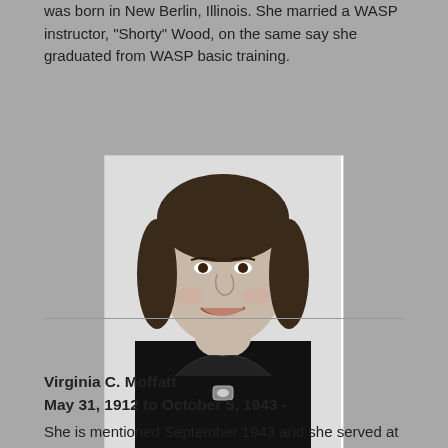was born in New Berlin, Illinois. She married a WASP instructor, "Shorty" Wood, on the same say she graduated from WASP basic training.
[Figure (photo): Black and white portrait photograph of a smiling woman wearing dark clothing with what appears to be a WASP pin or brooch.]
Virginia C. Moffatt
May 31, 1912 to October 5, 1943 -
She is mentioned September 1943 and she served at the base at 13 Central...